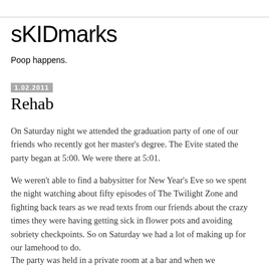sKIDmarks
Poop happens.
1.02.2011
Rehab
On Saturday night we attended the graduation party of one of our friends who recently got her master's degree. The Evite stated the party began at 5:00. We were there at 5:01.
We weren't able to find a babysitter for New Year's Eve so we spent the night watching about fifty episodes of The Twilight Zone and fighting back tears as we read texts from our friends about the crazy times they were having getting sick in flower pots and avoiding sobriety checkpoints. So on Saturday we had a lot of making up for our lamehood to do.
The party was held in a private room at a bar and when we